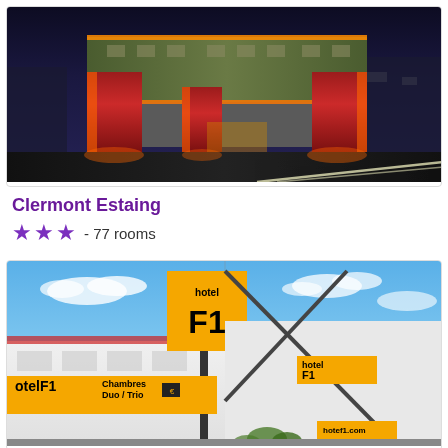[Figure (photo): Night photo of Clermont Estaing hotel exterior with red and orange accent lighting on lower floors and a green-tinted upper structure against a deep blue-purple night sky]
Clermont Estaing
★★★ - 77 rooms
[Figure (photo): Daytime photo of hotelF1 exterior showing yellow hotelF1 signage, white building facade with sign reading 'Chambres Duo/Trio', blue sky with clouds]